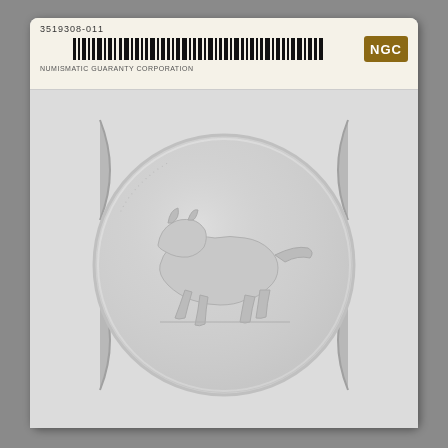[Figure (photo): NGC (Numismatic Guaranty Corporation) coin grading slab holder containing a silver coin showing a crouching mountain lion or cougar design. The slab has a barcode label at top with the NGC logo in gold/brown, company name 'NUMISMATIC GUARANTY CORPORATION', and the coin is held in a white plastic holder with curved cutouts on the sides.]